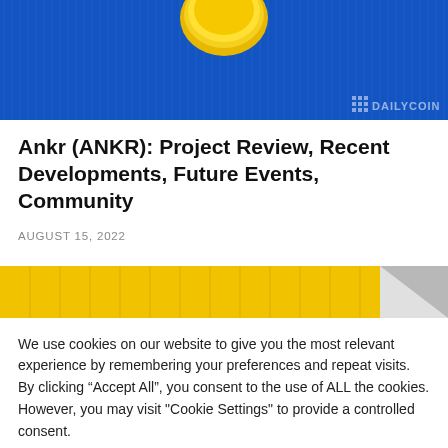[Figure (photo): Blue background header image with gold coin at top and DailyCoin watermark in bottom right]
Ankr (ANKR): Project Review, Recent Developments, Future Events, Community
AUGUST 15, 2022
[Figure (photo): Yellow and grey folded paper/tape measure image]
We use cookies on our website to give you the most relevant experience by remembering your preferences and repeat visits. By clicking “Accept All”, you consent to the use of ALL the cookies. However, you may visit "Cookie Settings" to provide a controlled consent.
Read our Cookie Statement